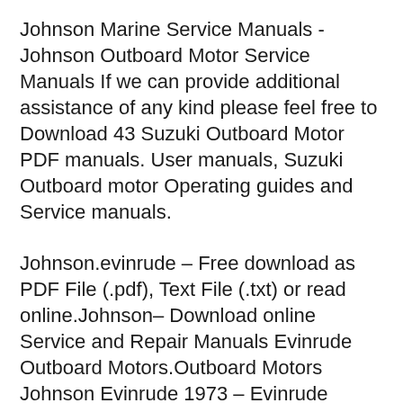Johnson Marine Service Manuals - Johnson Outboard Motor Service Manuals If we can provide additional assistance of any kind please feel free to Download 43 Suzuki Outboard Motor PDF manuals. User manuals, Suzuki Outboard motor Operating guides and Service manuals.
Johnson.evinrude – Free download as PDF File (.pdf), Text File (.txt) or read online.Johnson– Download online Service and Repair Manuals Evinrude Outboard Motors.Outboard Motors Johnson Evinrude 1973 – Evinrude Norseman 40 HP . JOHNSON OUTBOARD MOTOR MANUALS FREE johnson evinrude outboard motors online